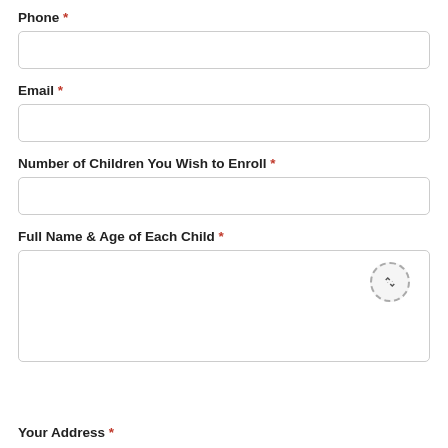Phone *
Email *
Number of Children You Wish to Enroll *
Full Name & Age of Each Child *
Your Address *